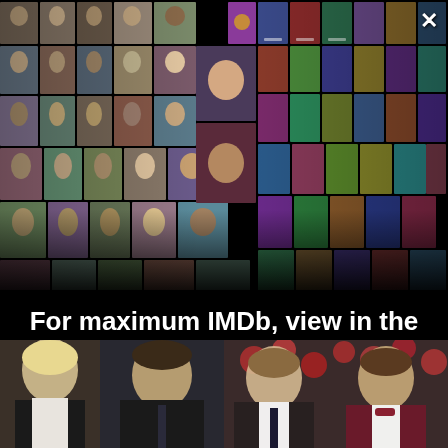[Figure (photo): IMDb app promotional overlay showing a collage of celebrity photos on the left panel and movie posters on the right panel, arranged in a perspective fold/book layout on a black background]
For maximum IMDb, view in the app
Get the app
[Figure (photo): Bottom strip of celebrity/actor photos: two people on the left side and two people on the right side]